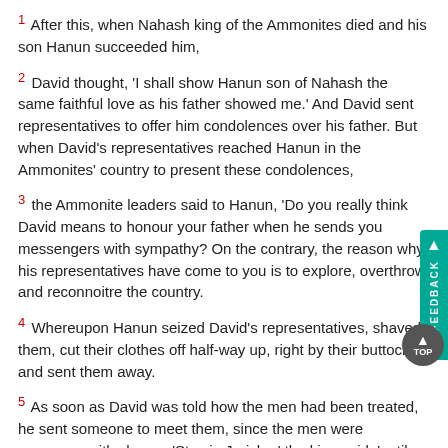1 After this, when Nahash king of the Ammonites died and his son Hanun succeeded him,
2 David thought, 'I shall show Hanun son of Nahash the same faithful love as his father showed me.' And David sent representatives to offer him condolences over his father. But when David's representatives reached Hanun in the Ammonites' country to present these condolences,
3 the Ammonite leaders said to Hanun, 'Do you really think David means to honour your father when he sends you messengers with sympathy? On the contrary, the reason why his representatives have come to you is to explore, overthrow and reconnoitre the country.
4 Whereupon Hanun seized David's representatives, shaved them, cut their clothes off half-way up, right by their buttocks, and sent them away.
5 As soon as David was told how the men had been treated, he sent someone to meet them, since the men were overcome with shame. 'Stay in Jericho,' the king said, 'until your beards have grown, and come back then.'
6 When the Ammonites realised that they had antagonised David, Hanun and the Ammonites sent a thousand talents of silver to hire chariots and cavalry from the Aramaeans of Upper Mesopotamia, of Maacah and of Zobah.